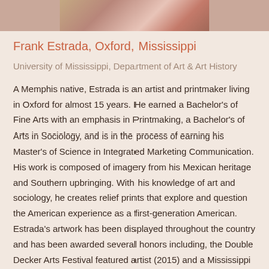[Figure (photo): Partial photo strip showing people at what appears to be an arts event, cropped at the top of the page]
Frank Estrada, Oxford, Mississippi
University of Mississippi, Department of Art & Art History
A Memphis native, Estrada is an artist and printmaker living in Oxford for almost 15 years. He earned a Bachelor's of Fine Arts with an emphasis in Printmaking, a Bachelor's of Arts in Sociology, and is in the process of earning his Master's of Science in Integrated Marketing Communication. His work is composed of imagery from his Mexican heritage and Southern upbringing. With his knowledge of art and sociology, he creates relief prints that explore and question the American experience as a first-generation American. Estrada's artwork has been displayed throughout the country and has been awarded several honors including, the Double Decker Arts Festival featured artist (2015) and a Mississippi Arts Commission Visual Arts Fellowship Grant recipient (2016).